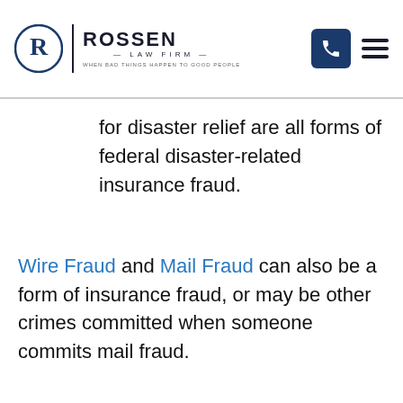Rossen Law Firm — When Bad Things Happen to Good People
for disaster relief are all forms of federal disaster-related insurance fraud.
Wire Fraud and Mail Fraud can also be a form of insurance fraud, or may be other crimes committed when someone commits mail fraud.